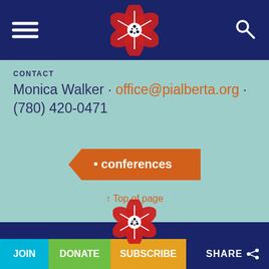Navigation header with hamburger menu, logo, and search icon
CONTACT
Monica Walker · office@pialberta.org · (780) 420-0471
[Figure (infographic): Orange arrow-shaped button with text '• conferences']
↑ Top of page
[Figure (logo): Red flower/rosette logo centered in dark navy footer area]
JOIN  DONATE  SUBSCRIBE  SHARE